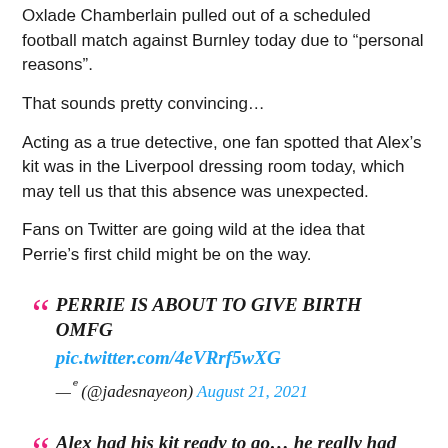Oxlade Chamberlain pulled out of a scheduled football match against Burnley today due to “personal reasons”.
That sounds pretty convincing…
Acting as a true detective, one fan spotted that Alex’s kit was in the Liverpool dressing room today, which may tell us that this absence was unexpected.
Fans on Twitter are going wild at the idea that Perrie’s first child might be on the way.
“ PERRIE IS ABOUT TO GIVE BIRTH OMFG pic.twitter.com/4eVRrf5wXG —ᵉ (@jadesnayeon) August 21, 2021
“ Alex had his kit ready to go… he really had to go last minute 😶 perrie hun if